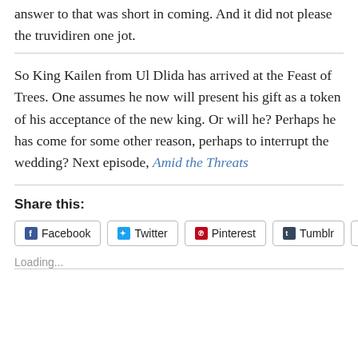answer to that was short in coming. And it did not please the truvidiren one jot.
So King Kailen from Ul Dlida has arrived at the Feast of Trees. One assumes he now will present his gift as a token of his acceptance of the new king. Or will he? Perhaps he has come for some other reason, perhaps to interrupt the wedding? Next episode, Amid the Threats
Share this:
Facebook  Twitter  Pinterest  Tumblr  More
Loading...